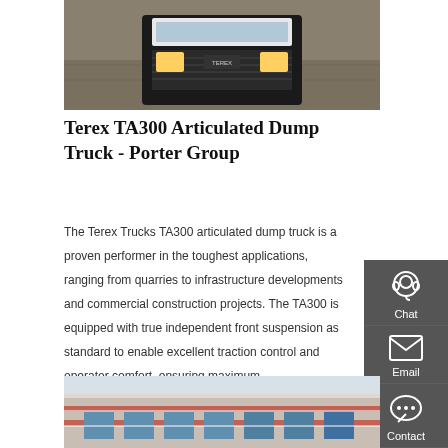[Figure (photo): Top portion of a Terex TA300 articulated dump truck viewed from the front, photographed on a concrete/dirt surface, cropped to show the front cabin area]
Terex TA300 Articulated Dump Truck - Porter Group
The Terex Trucks TA300 articulated dump truck is a proven performer in the toughest applications, ranging from quarries to infrastructure developments and commercial construction projects. The TA300 is equipped with true independent front suspension as standard to enable excellent traction control and operator comfort, ensuring maximum
[Figure (screenshot): Orange 'Get a Quote' call-to-action button]
[Figure (photo): Bottom partial photograph showing a building facade with red and white elements and some blue windows, partially cropped]